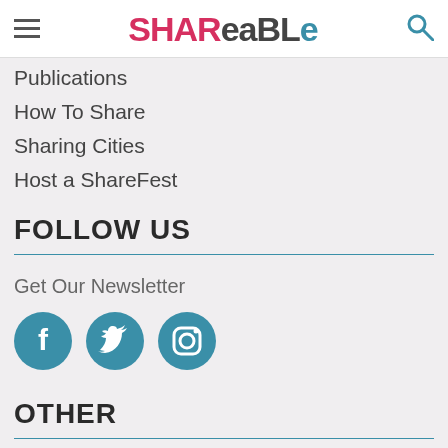Shareable
Publications
How To Share
Sharing Cities
Host a ShareFest
FOLLOW US
Get Our Newsletter
[Figure (illustration): Three social media icons in teal circles: Facebook (f), Twitter (bird), Instagram (camera)]
OTHER